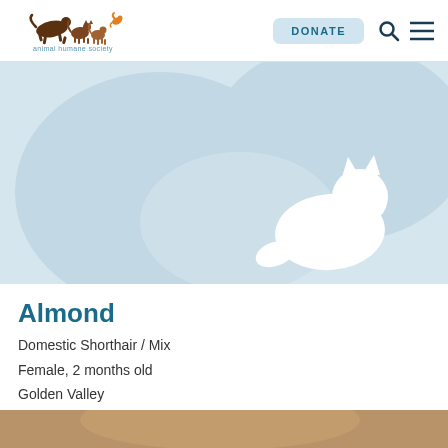Animal Humane Society — DONATE
[Figure (illustration): Animal Humane Society placeholder image with light blue background showing silhouettes of a dog and cat]
Almond
Domestic Shorthair / Mix
Female, 2 months old
Golden Valley
[Figure (photo): Partial view of animal photo at bottom of page, cropped]